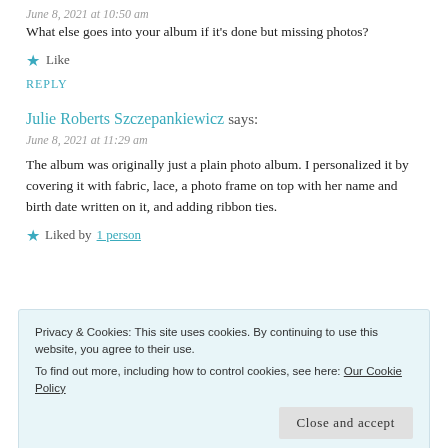June 8, 2021 at 10:50 am
What else goes into your album if it's done but missing photos?
★ Like
REPLY
Julie Roberts Szczepankiewicz says:
June 8, 2021 at 11:29 am
The album was originally just a plain photo album. I personalized it by covering it with fabric, lace, a photo frame on top with her name and birth date written on it, and adding ribbon ties.
★ Liked by 1 person
Privacy & Cookies: This site uses cookies. By continuing to use this website, you agree to their use. To find out more, including how to control cookies, see here: Our Cookie Policy
Close and accept